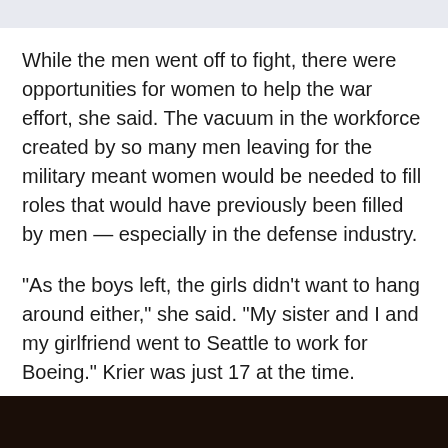While the men went off to fight, there were opportunities for women to help the war effort, she said. The vacuum in the workforce created by so many men leaving for the military meant women would be needed to fill roles that would have previously been filled by men — especially in the defense industry.
"As the boys left, the girls didn't want to hang around either," she said. "My sister and I and my girlfriend went to Seattle to work for Boeing." Krier was just 17 at the time.
[Figure (photo): Dark photograph strip at bottom of page, partially visible]